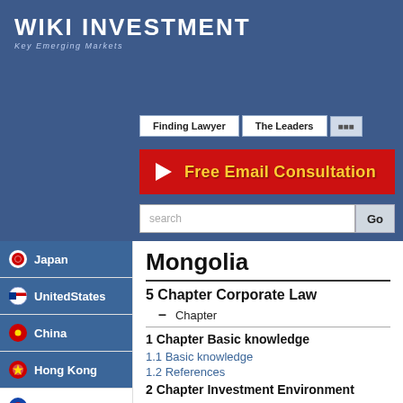Wiki Investment - Key Emerging Markets
Finding Lawyer | The Leaders
Free Email Consultation
search
Mongolia
5 Chapter Corporate Law
– Chapter
1 Chapter Basic knowledge
1.1 Basic knowledge
1.2 References
2 Chapter Investment Environment
Japan
UnitedStates
China
Hong Kong
Mongolia
Russia